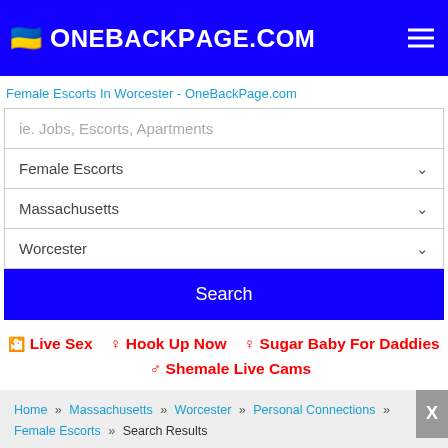OneBackPage.com
Female Escorts In Worcester - OneBackPage.com
ie. Jobs, Escorts, Apartments
Female Escorts
Massachusetts
Worcester
Search
🎥 Live Sex   ♀ Hook Up Now   ♀ Sugar Baby For Daddies   ♂ Shemale Live Cams
Home » Massachusetts » Worcester » Personal Connections » Female Escorts » Search Results
Click Here to POST your FREE ad!